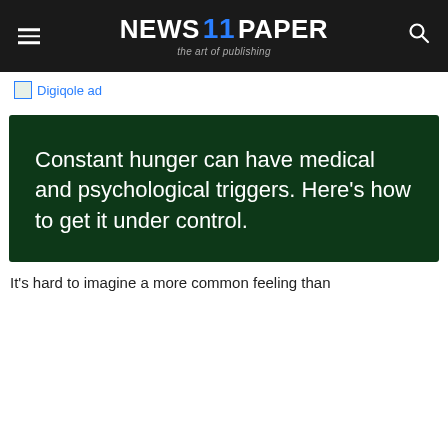NEWS 11 PAPER — the art of publishing
[Figure (other): Digiqole ad placeholder image link]
[Figure (other): Dark green feature image with white text: Constant hunger can have medical and psychological triggers. Here's how to get it under control.]
It's hard to imagine a more common feeling than